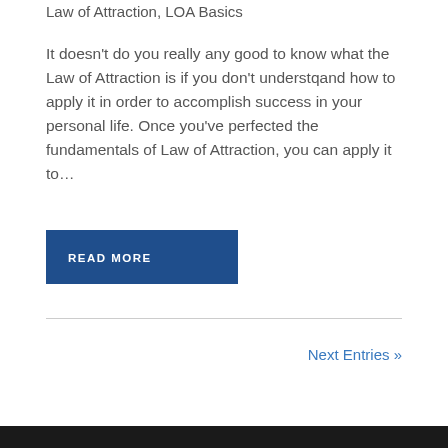Law of Attraction, LOA Basics
It doesn't do you really any good to know what the Law of Attraction is if you don't understqand how to apply it in order to accomplish success in your personal life. Once you've perfected the fundamentals of Law of Attraction, you can apply it to…
READ MORE
Next Entries »